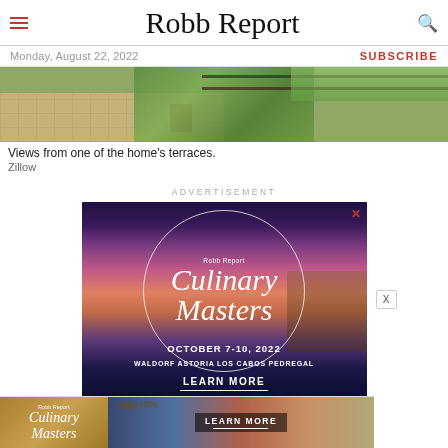Robb Report
Monday, August 22, 2022    SUBSCRIBE
[Figure (photo): Outdoor terrace view showing stone tile floor, potted plants, and metal railing with greenery beyond]
Views from one of the home's terraces.
Zillow
ADVERTISEMENT
[Figure (photo): Robb Report Culinary Masters advertisement. October 7-10, 2022. Waldorf Astoria Los Cabos Pedregal. Learn More.]
[Figure (photo): Robb Report Culinary Masters bottom banner advertisement with Learn More button]